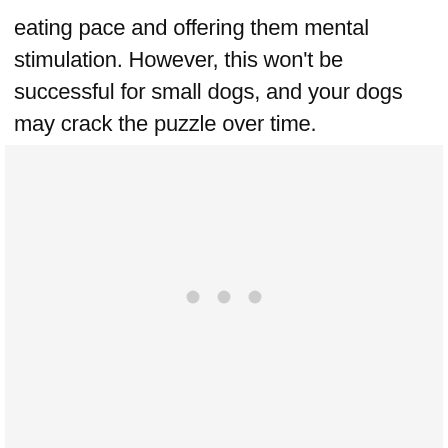eating pace and offering them mental stimulation. However, this won't be successful for small dogs, and your dogs may crack the puzzle over time.
[Figure (other): A light gray placeholder image area with three small gray dots in the center, indicating a loading or pending image state.]